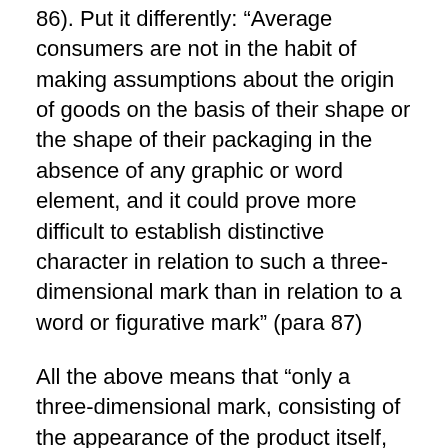86). Put it differently: "Average consumers are not in the habit of making assumptions about the origin of goods on the basis of their shape or the shape of their packaging in the absence of any graphic or word element, and it could prove more difficult to establish distinctive character in relation to such a three-dimensional mark than in relation to a word or figurative mark" (para 87)
All the above means that "only a three-dimensional mark, consisting of the appearance of the product itself, which departs significantly from the